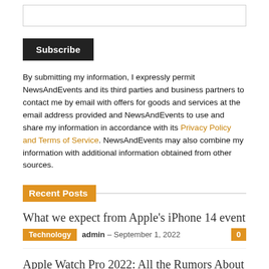[input box]
Subscribe
By submitting my information, I expressly permit NewsAndEvents and its third parties and business partners to contact me by email with offers for goods and services at the email address provided and NewsAndEvents to use and share my information in accordance with its Privacy Policy and Terms of Service. NewsAndEvents may also combine my information with additional information obtained from other sources.
Recent Posts
What we expect from Apple's iPhone 14 event
Technology  admin – September 1, 2022  0
Apple Watch Pro 2022: All the Rumors About Apple's Rugged Sports Watch